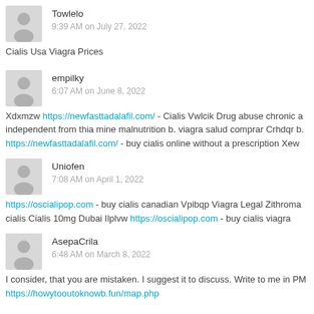Towlelo
9:39 AM on July 27, 2022
Cialis Usa Viagra Prices
empilky
6:07 AM on June 8, 2022
Xdxmzw https://newfasttadalafil.com/ - Cialis Vwlcik Drug abuse chronic a independent from thia mine malnutrition b. viagra salud comprar Crhdqr b. https://newfasttadalafil.com/ - buy cialis online without a prescription Xew
Uniofen
7:08 AM on April 1, 2022
https://oscialipop.com - buy cialis canadian Vpibqp Viagra Legal Zithroma cialis Cialis 10mg Dubai Ilplvw https://oscialipop.com - buy cialis viagra
AsepaCrila
6:48 AM on March 8, 2022
I consider, that you are mistaken. I suggest it to discuss. Write to me in PM https://howytooutoknowb.fun/map.php